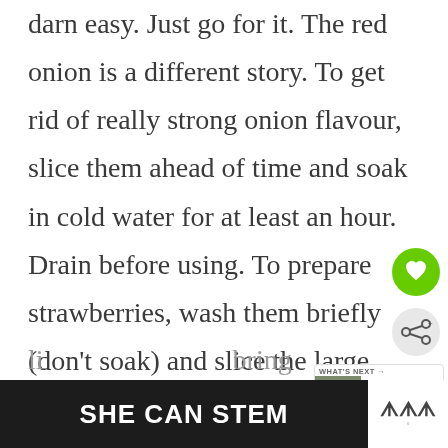darn easy. Just go for it. The red onion is a different story. To get rid of really strong onion flavour, slice them ahead of time and soak in cold water for at least an hour. Drain before using. To prepare strawberries, wash them briefly (don't soak) and slice the large ones in half. Leave the small strawberries whole for a varied effect. Lastly,
[Figure (other): Green circular heart/favourite button icon]
[Figure (other): Grey circular share button icon]
[Figure (other): What's Next panel showing Shaved Asparagus... with a thumbnail of the dish]
li bring
[Figure (other): Dark banner advertisement reading SHE CAN STEM in bold white text]